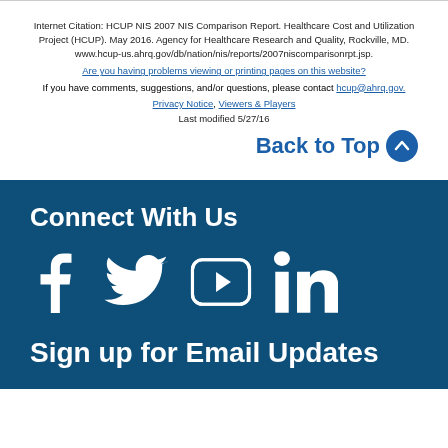Internet Citation: HCUP NIS 2007 NIS Comparison Report. Healthcare Cost and Utilization Project (HCUP). May 2016. Agency for Healthcare Research and Quality, Rockville, MD. www.hcup-us.ahrq.gov/db/nation/nis/reports/2007niscomparisonrpt.jsp.
Are you having problems viewing or printing pages on this website?
If you have comments, suggestions, and/or questions, please contact hcup@ahrq.gov.
Privacy Notice, Viewers & Players
Last modified 5/27/16
Back to Top
Connect With Us
[Figure (illustration): Social media icons: Facebook, Twitter, YouTube, LinkedIn]
Sign up for Email Updates